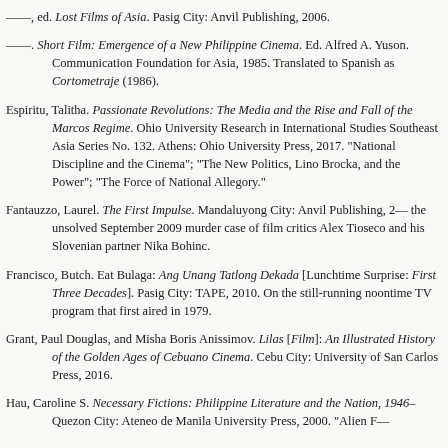——, ed. Lost Films of Asia. Pasig City: Anvil Publishing, 2006.
——. Short Film: Emergence of a New Philippine Cinema. Ed. Alfred A. Yuson. Communication Foundation for Asia, 1985. Translated to Spanish as Cortometraje (1986).
Espiritu, Talitha. Passionate Revolutions: The Media and the Rise and Fall of the Marcos Regime. Ohio University Research in International Studies Southeast Asia Series No. 132. Athens: Ohio University Press, 2017. "National Discipline and the Cinema"; "The New Politics, Lino Brocka, and the Power"; "The Force of National Allegory."
Fantauzzo, Laurel. The First Impulse. Mandaluyong City: Anvil Publishing, 2— the unsolved September 2009 murder case of film critics Alex Tioseco and his Slovenian partner Nika Bohinc.
Francisco, Butch. Eat Bulaga: Ang Unang Tatlong Dekada [Lunchtime Surprise: First Three Decades]. Pasig City: TAPE, 2010. On the still-running noontime TV program that first aired in 1979.
Grant, Paul Douglas, and Misha Boris Anissimov. Lilas [Film]: An Illustrated History of the Golden Ages of Cebuano Cinema. Cebu City: University of San Carlos Press, 2016.
Hau, Caroline S. Necessary Fictions: Philippine Literature and the Nation, 1946– Quezon City: Ateneo de Manila University Press, 2000. "Alien F—